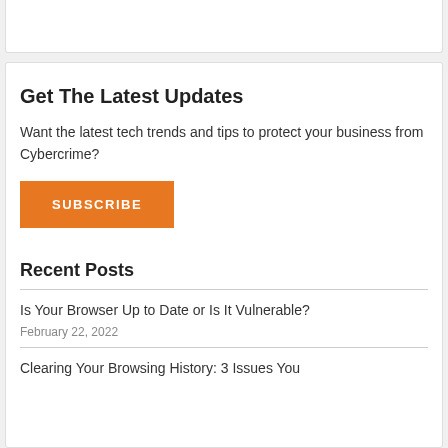Get The Latest Updates
Want the latest tech trends and tips to protect your business from Cybercrime?
SUBSCRIBE
Recent Posts
Is Your Browser Up to Date or Is It Vulnerable?
February 22, 2022
Clearing Your Browsing History: 3 Issues You